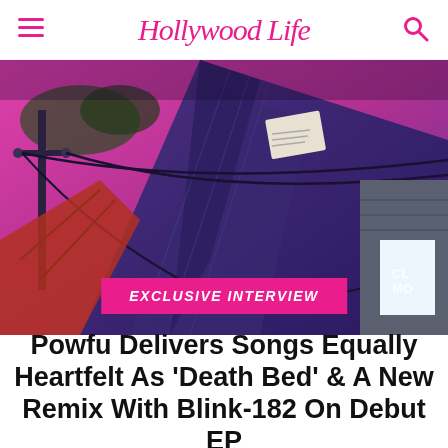Hollywood Life
[Figure (illustration): Animated/illustrated artwork showing rooftops with power lines against a pink and purple twilight sky. Stylized, graphic novel-style image used as hero image for a Hollywood Life article about musician Powfu.]
EXCLUSIVE INTERVIEW
Powfu Delivers Songs Equally Heartfelt As 'Death Bed' & A New Remix With Blink-182 On Debut EP